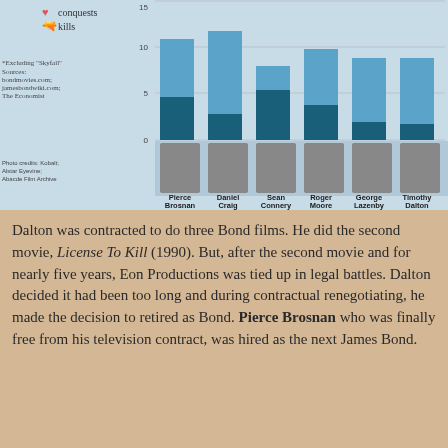[Figure (grouped-bar-chart): James Bond actors: conquests and kills per film]
Dalton was contracted to do three Bond films. He did the second movie, License To Kill (1990). But, after the second movie and for nearly five years, Eon Productions was tied up in legal battles. Dalton decided it had been too long and during contractual renegotiating, he made the decision to retired as Bond. Pierce Brosnan who was finally free from his television contract, was hired as the next James Bond.